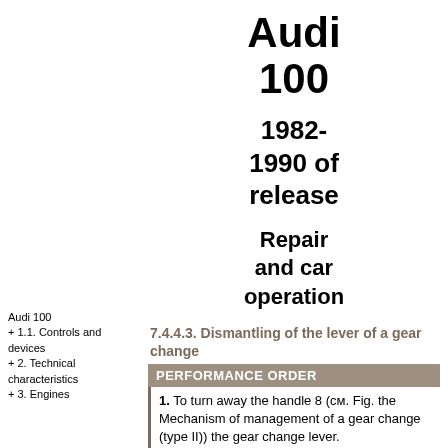Audi 100
1982-1990 of release
Repair and car operation
7.4.4.3. Dismantling of the lever of a gear change
PERFORMANCE ORDER
1. To turn away the handle 8 (см. Fig. the Mechanism of management of a gear change (type II)) the gear change lever.
2. For the mechanism of type II to
Audi 100
+ 1.1. Controls and devices
+ 2. Technical characteristics
+ 3. Engines